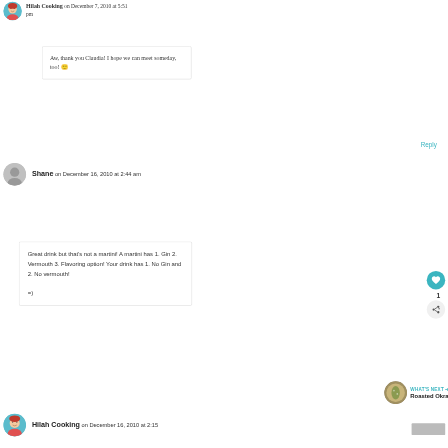Hilah Cooking on December 7, 2010 at 5:51 pm
Aw, thank you Claudia! I hope we can meet someday, too! 🙂
Reply
Shane on December 16, 2010 at 2:44 am
Great drink but that's not a martini! A martini has 1. Gin 2. Vermouth 3. Flavoring option! Your drink has 1. No Gin and 2. No vermouth!

=)
WHAT'S NEXT → Roasted Okra
Hilah Cooking on December 16, 2010 at 2:15